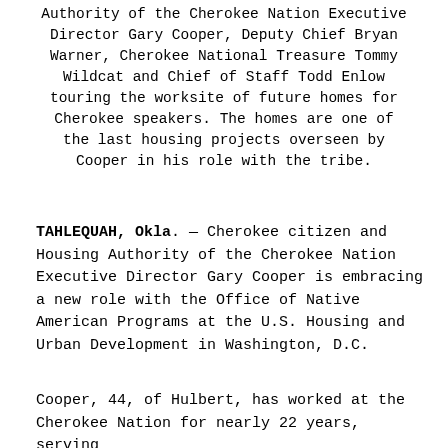Authority of the Cherokee Nation Executive Director Gary Cooper, Deputy Chief Bryan Warner, Cherokee National Treasure Tommy Wildcat and Chief of Staff Todd Enlow touring the worksite of future homes for Cherokee speakers. The homes are one of the last housing projects overseen by Cooper in his role with the tribe.
TAHLEQUAH, Okla. — Cherokee citizen and Housing Authority of the Cherokee Nation Executive Director Gary Cooper is embracing a new role with the Office of Native American Programs at the U.S. Housing and Urban Development in Washington, D.C.
Cooper, 44, of Hulbert, has worked at the Cherokee Nation for nearly 22 years, serving